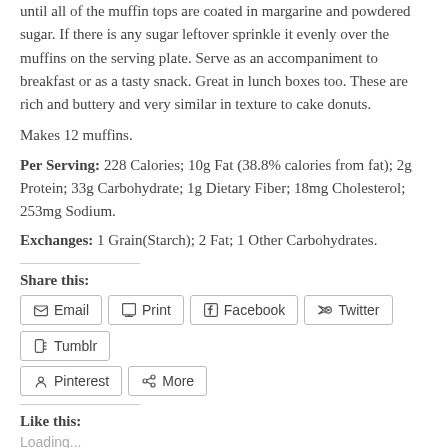until all of the muffin tops are coated in margarine and powdered sugar. If there is any sugar leftover sprinkle it evenly over the muffins on the serving plate. Serve as an accompaniment to breakfast or as a tasty snack. Great in lunch boxes too. These are rich and buttery and very similar in texture to cake donuts.
Makes 12 muffins.
Per Serving: 228 Calories; 10g Fat (38.8% calories from fat); 2g Protein; 33g Carbohydrate; 1g Dietary Fiber; 18mg Cholesterol; 253mg Sodium.
Exchanges: 1 Grain(Starch); 2 Fat; 1 Other Carbohydrates.
Share this:
Email
Print
Facebook
Twitter
Tumblr
Pinterest
More
Like this:
Loading...